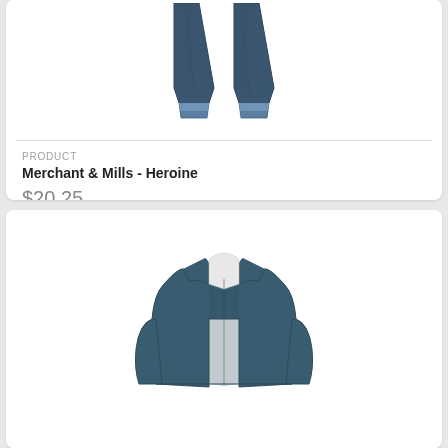[Figure (photo): Bottom portion of dark denim jeans/trousers with rolled cuffs, shown against white background]
PRODUCT
Merchant & Mills - Heroine
$20.25
[Figure (photo): Dark blue denim or leather jacket with collar and long sleeves, shown against white background]